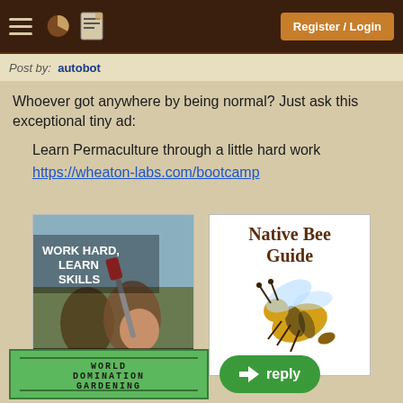Register / Login
Post by: autobot
Whoever got anywhere by being normal? Just ask this exceptional tiny ad:
Learn Permaculture through a little hard work
https://wheaton-labs.com/bootcamp
[Figure (photo): Bootcamp ad image showing people working outdoors with text 'Work hard, Learn Skills, Bootcamp']
[Figure (illustration): Native Bee Guide image showing illustrated bee with text 'Native Bee Guide']
[Figure (illustration): Green button with text 'World Domination Gardening']
reply